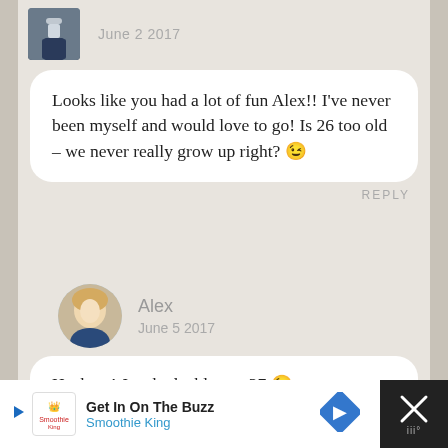June 2 2017
Looks like you had a lot of fun Alex!! I've never been myself and would love to go! Is 26 too old – we never really grow up right? 😉
REPLY
[Figure (photo): Round avatar photo of a blonde woman named Alex]
Alex
June 5 2017
Heck no! Just had a blast at 27 😉
REPLY
[Figure (infographic): Advertisement banner: Get In On The Buzz - Smoothie King, with blue diamond arrow icon and close button]